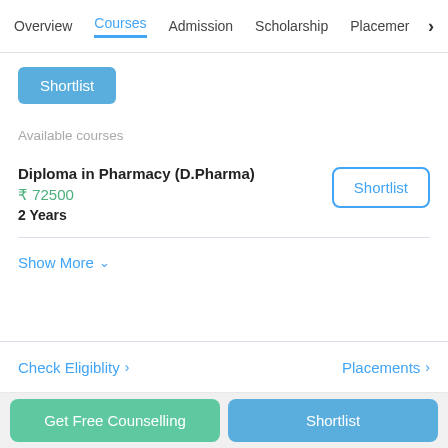Overview | Courses | Admission | Scholarship | Placement >
Shortlist
Available courses
Diploma in Pharmacy (D.Pharma)
₹ 72500
2 Years
Shortlist
Show More
Check Eligiblity >   Placements >
Get Free Counselling
Shortlist